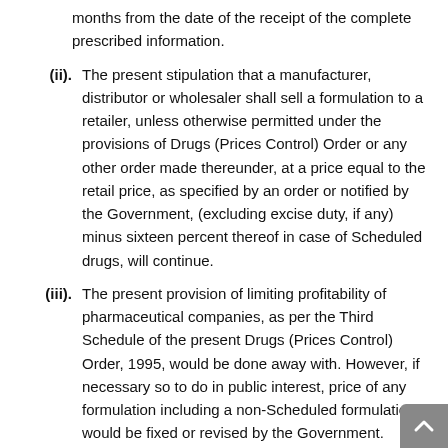months from the date of the receipt of the complete prescribed information.
(ii). The present stipulation that a manufacturer, distributor or wholesaler shall sell a formulation to a retailer, unless otherwise permitted under the provisions of Drugs (Prices Control) Order or any other order made thereunder, at a price equal to the retail price, as specified by an order or notified by the Government, (excluding excise duty, if any) minus sixteen percent thereof in case of Scheduled drugs, will continue.
(iii). The present provision of limiting profitability of pharmaceutical companies, as per the Third Schedule of the present Drugs (Prices Control) Order, 1995, would be done away with. However, if necessary so to do in public interest, price of any formulation including a non-Scheduled formulation would be fixed or revised by the Government.